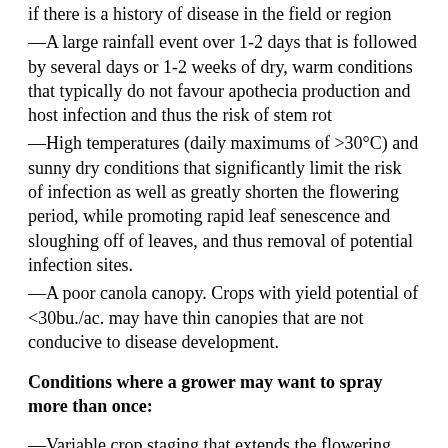if there is a history of disease in the field or region
—A large rainfall event over 1-2 days that is followed by several days or 1-2 weeks of dry, warm conditions that typically do not favour apothecia production and host infection and thus the risk of stem rot
—High temperatures (daily maximums of >30°C) and sunny dry conditions that significantly limit the risk of infection as well as greatly shorten the flowering period, while promoting rapid leaf senescence and sloughing off of leaves, and thus removal of potential infection sites.
—A poor canola canopy. Crops with yield potential of <30bu./ac. may have thin canopies that are not conducive to disease development.
Conditions where a grower may want to spray more than once:
—Variable crop staging that extends the flowering period, but assess the yield potential before investing more in the crop.
—Thin stands with late branches that extend the flowering